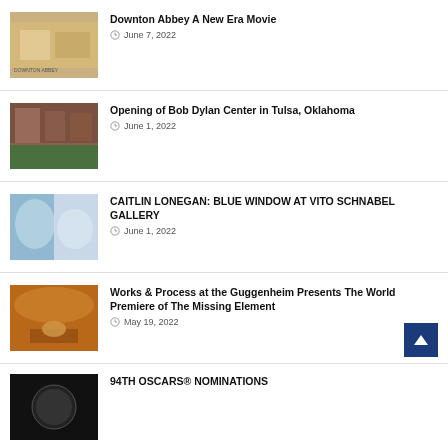Downton Abbey A New Era Movie — June 7, 2022
Opening of Bob Dylan Center in Tulsa, Oklahoma — June 1, 2022
CAITLIN LONEGAN: BLUE WINDOW AT VITO SCHNABEL GALLERY — June 1, 2022
Works & Process at the Guggenheim Presents The World Premiere of The Missing Element — May 19, 2022
94TH OSCARS® NOMINATIONS